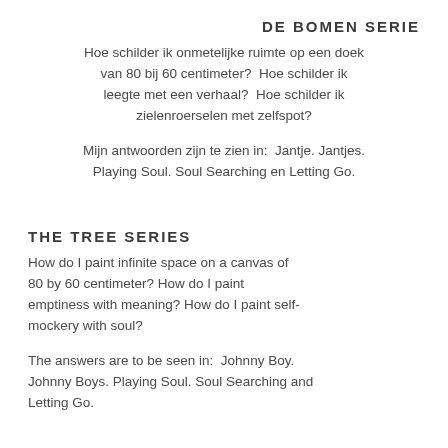DE BOMEN SERIE
Hoe schilder ik onmetelijke ruimte op een doek van 80 bij 60 centimeter? Hoe schilder ik leegte met een verhaal? Hoe schilder ik zielenroerselen met zelfspot?
Mijn antwoorden zijn te zien in: Jantje. Jantjes. Playing Soul. Soul Searching en Letting Go.
THE TREE SERIES
How do I paint infinite space on a canvas of 80 by 60 centimeter? How do I paint emptiness with meaning? How do I paint self-mockery with soul?
The answers are to be seen in: Johnny Boy. Johnny Boys. Playing Soul. Soul Searching and Letting Go.